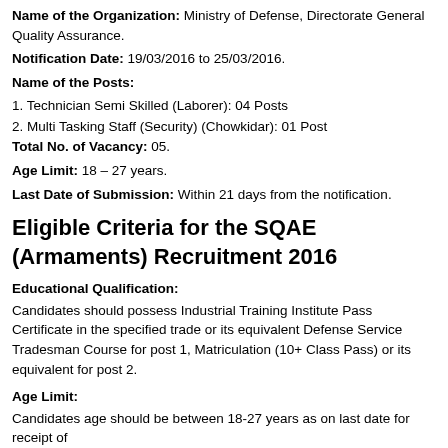Name of the Organization: Ministry of Defense, Directorate General Quality Assurance.
Notification Date: 19/03/2016 to 25/03/2016.
Name of the Posts:
1. Technician Semi Skilled (Laborer): 04 Posts
2. Multi Tasking Staff (Security) (Chowkidar): 01 Post
Total No. of Vacancy: 05.
Age Limit: 18 – 27 years.
Last Date of Submission: Within 21 days from the notification.
Eligible Criteria for the SQAE (Armaments) Recruitment 2016
Educational Qualification:
Candidates should possess Industrial Training Institute Pass Certificate in the specified trade or its equivalent Defense Service Tradesman Course for post 1, Matriculation (10+ Class Pass) or its equivalent for post 2.
Age Limit:
Candidates age should be between 18-27 years as on last date for receipt of